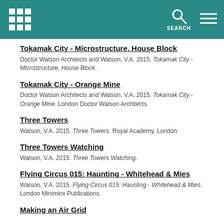Header bar with logo, search, and menu
Tokamak City - Microstructure, House Block
Doctor Watson Architects and Watson, V.A. 2015. Tokamak City - Microstructure, House Block .
Tokamak City - Orange Mine
Doctor Watson Architects and Watson, V.A. 2015. Tokamak City - Orange Mine. London Doctor Watson Architects.
Three Towers
Watson, V.A. 2015. Three Towers. Royal Academy, London
Three Towers Watching
Watson, V.A. 2015. Three Towers Watching.
Flying Circus 015: Haunting - Whitehead & Mies
Watson, V.A. 2015. Flying Circus 015: Haunting - Whitehead & Mies. London Miniminx Publications.
Making an Air Grid